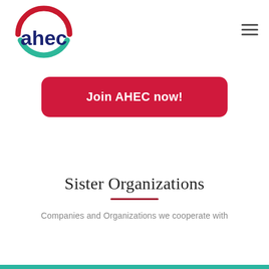[Figure (logo): AHEC logo: circle with red top arc, green bottom arc, and blue 'ahec' text in the center]
[Figure (other): Hamburger menu icon (three horizontal lines)]
Join AHEC now!
Sister Organizations
Companies and Organizations we cooperate with